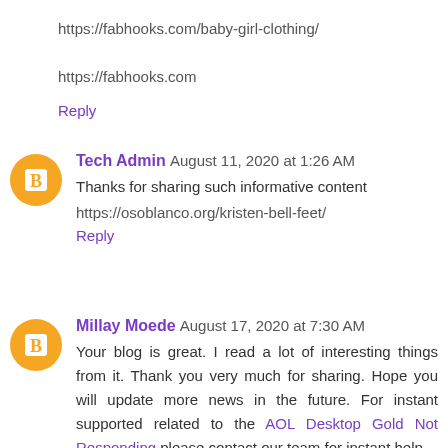https://fabhooks.com/baby-girl-clothing/
https://fabhooks.com
Reply
Tech Admin  August 11, 2020 at 1:26 AM
Thanks for sharing such informative content
https://osoblanco.org/kristen-bell-feet/
Reply
Millay Moede  August 17, 2020 at 7:30 AM
Your blog is great. I read a lot of interesting things from it. Thank you very much for sharing. Hope you will update more news in the future. For instant supported related to the AOL Desktop Gold Not Responding please contact our team for instant help.